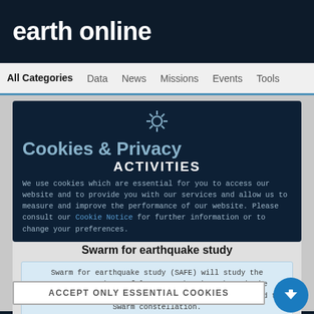earth online
All Categories   Data   News   Missions   Events   Tools
Cookies & Privacy
ACTIVITIES
We use cookies which are essential for you to access our website and to provide you with our services and allow us to measure and improve the performance of our website. Please consult our Cookie Notice for further information or to change your preferences.
Swarm for earthquake study
Swarm for earthquake study (SAFE) will study the preparatory phase of large earthquakes through the analysis of electromagnetic data from sensors on board the Swarm constellation.
ACCEPT ONLY ESSENTIAL COOKIES
Activity - Projects